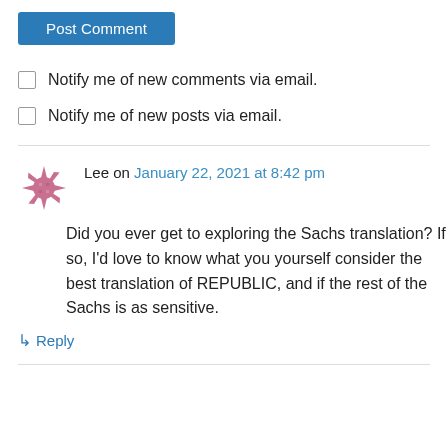[Figure (other): Blue 'Post Comment' button]
Notify me of new comments via email.
Notify me of new posts via email.
Lee on January 22, 2021 at 8:42 pm
Did you ever get to exploring the Sachs translation? If so, I’d love to know what you yourself consider the best translation of REPUBLIC, and if the rest of the Sachs is as sensitive.
↳ Reply